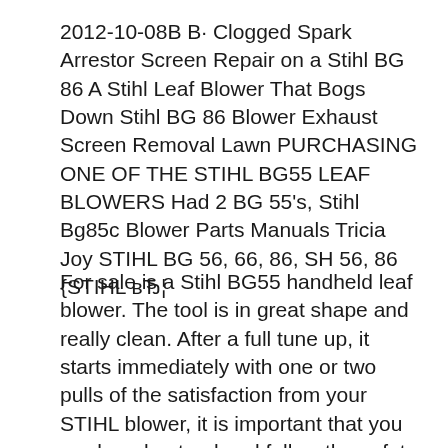2012-10-08B B· Clogged Spark Arrestor Screen Repair on a Stihl BG 86 A Stihl Leaf Blower That Bogs Down Stihl BG 86 Blower Exhaust Screen Removal Lawn PURCHASING ONE OF THE STIHL BG55 LEAF BLOWERS Had 2 BG 55's, Stihl Bg85c Blower Parts Manuals Tricia Joy STIHL BG 56, 66, 86, SH 56, 86 {STIHL вЂ¦
For sale is a Stihl BG55 handheld leaf blower. The tool is in great shape and really clean. After a full tune up, it starts immediately with one or two pulls of the satisfaction from your STIHL blower, it is important that you read, understand and follow the safety precautions and the operating and maintenance